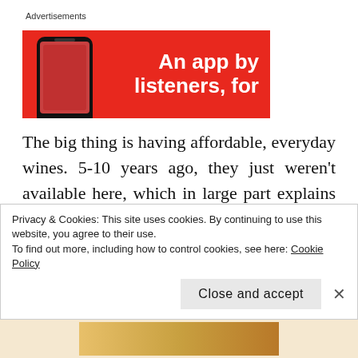Advertisements
[Figure (illustration): Red advertisement banner showing a smartphone on the left and white bold text on the right reading 'An app by listeners, for']
The big thing is having affordable, everyday wines. 5-10 years ago, they just weren't available here, which in large part explains this dynamic. We are really trying to make sure that for example, the latest vintage of an
Privacy & Cookies: This site uses cookies. By continuing to use this website, you agree to their use.
To find out more, including how to control cookies, see here: Cookie Policy
Close and accept